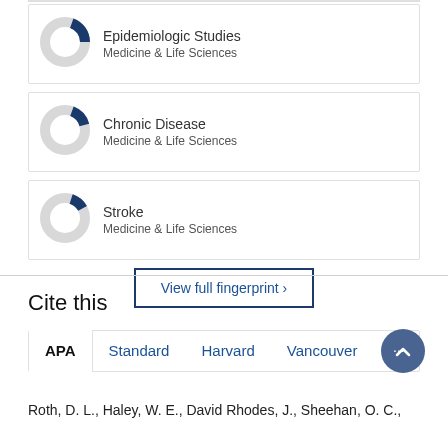[Figure (donut-chart): Donut chart for Epidemiologic Studies, Medicine & Life Sciences, approximately 20% fill]
[Figure (donut-chart): Donut chart for Chronic Disease, Medicine & Life Sciences, approximately 15% fill]
[Figure (donut-chart): Donut chart for Stroke, Medicine & Life Sciences, approximately 12% fill]
View full fingerprint ›
Cite this
APA  Standard  Harvard  Vancouver  ···
Roth, D. L., Haley, W. E., David Rhodes, J., Sheehan, O. C.,